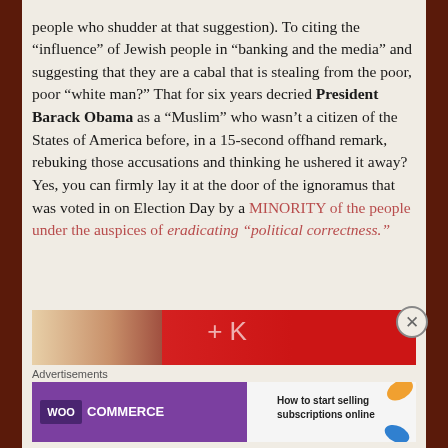people who shudder at that suggestion). To citing the “influence” of Jewish people in “banking and the media” and suggesting that they are a cabal that is stealing from the poor, poor “white man?” That for six years decried President Barack Obama as a “Muslim” who wasn’t a citizen of the States of America before, in a 15-second offhand remark, rebuking those accusations and thinking he ushered it away? Yes, you can firmly lay it at the door of the ignoramus that was voted in on Election Day by a MINORITY of the people under the auspices of eradicating “political correctness.”
[Figure (photo): Partial view of a blurred/cropped image strip showing what appears to be a red background with a cross or plus symbol visible]
Advertisements
[Figure (infographic): WooCommerce advertisement banner: purple left side with WooCommerce logo and teal arrow, right side with text 'How to start selling subscriptions online' with orange and blue leaf decorations]